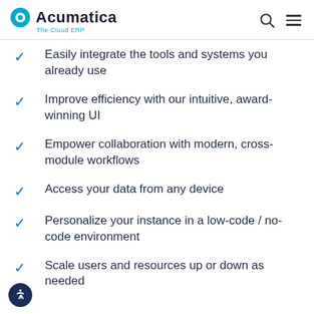Acumatica — The Cloud ERP
Easily integrate the tools and systems you already use
Improve efficiency with our intuitive, award-winning UI
Empower collaboration with modern, cross-module workflows
Access your data from any device
Personalize your instance in a low-code / no-code environment
Scale users and resources up or down as needed